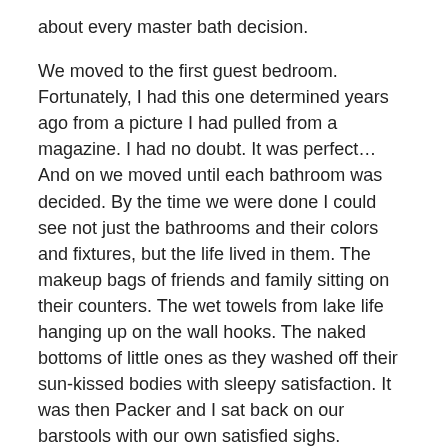about every master bath decision.
We moved to the first guest bedroom. Fortunately, I had this one determined years ago from a picture I had pulled from a magazine. I had no doubt. It was perfect… And on we moved until each bathroom was decided. By the time we were done I could see not just the bathrooms and their colors and fixtures, but the life lived in them. The makeup bags of friends and family sitting on their counters. The wet towels from lake life hanging up on the wall hooks. The naked bottoms of little ones as they washed off their sun-kissed bodies with sleepy satisfaction. It was then Packer and I sat back on our barstools with our own satisfied sighs.
“We did it.” I exhaled.
“Yes, we did.”